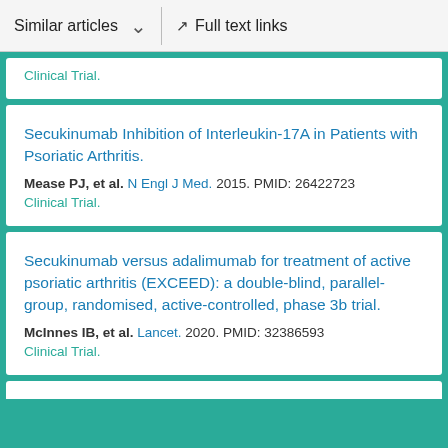Similar articles  Full text links
Clinical Trial.
Secukinumab Inhibition of Interleukin-17A in Patients with Psoriatic Arthritis.
Mease PJ, et al. N Engl J Med. 2015. PMID: 26422723
Clinical Trial.
Secukinumab versus adalimumab for treatment of active psoriatic arthritis (EXCEED): a double-blind, parallel-group, randomised, active-controlled, phase 3b trial.
McInnes IB, et al. Lancet. 2020. PMID: 32386593
Clinical Trial.